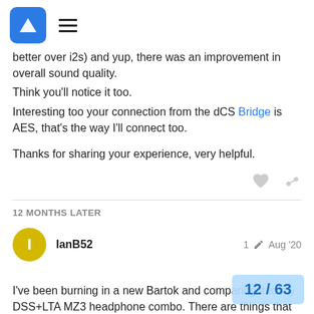Forum navigation header with logo and menu
better over i2s) and yup, there was an improvement in overall sound quality.
Think you'll notice it too.
Interesting too your connection from the dCS Bridge is AES, that's the way I'll connect too.

Thanks for sharing your experience, very helpful.
12 MONTHS LATER
IanB52  1  Aug '20
I've been burning in a new Bartok and comparing it to my DSS+LTA MZ3 headphone combo. There are things that are clearly better…but not everything. The Bar... sound muddy because of its level of clarity